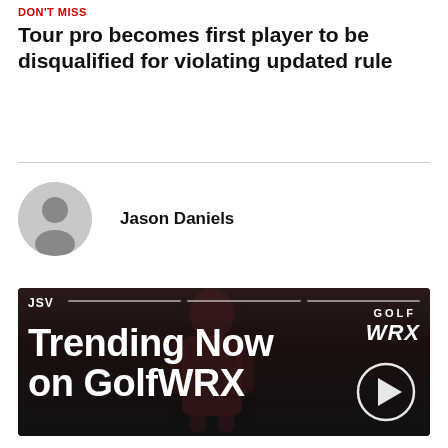DON'T MISS
Tour pro becomes first player to be disqualified for violating updated rule
Jason Daniels
[Figure (screenshot): Video thumbnail showing 'Trending Now on GolfWRX' text with JSV label and Golf WRX logo, play button in bottom right corner, dark background with a person silhouette]